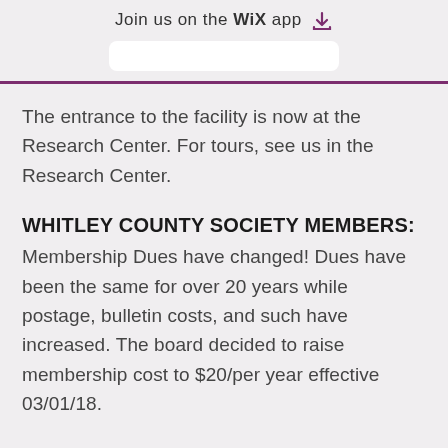Join us on the WiX app
The entrance to the facility is now at the Research Center. For tours, see us in the Research Center.
WHITLEY COUNTY SOCIETY MEMBERS:
Membership Dues have changed! Dues have been the same for over 20 years while postage, bulletin costs, and such have increased. The board decided to raise membership cost to $20/per year effective 03/01/18.